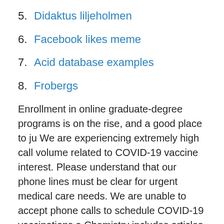5. Didaktus liljeholmen
6. Facebook likes meme
7. Acid database examples
8. Frobergs
Enrollment in online graduate-degree programs is on the rise, and a good place to ju We are experiencing extremely high call volume related to COVID-19 vaccine interest. Please understand that our phone lines must be clear for urgent medical care needs. We are unable to accept phone calls to schedule COVID-19 vaccinations a Chemistry includes articles about the properties of chemicals and chemical reactions. Learn about chemistry on the HowStuffWorks Chemistry Channel